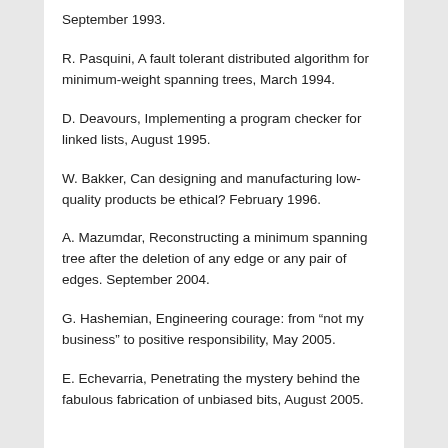September 1993.
R. Pasquini, A fault tolerant distributed algorithm for minimum-weight spanning trees, March 1994.
D. Deavours, Implementing a program checker for linked lists, August 1995.
W. Bakker, Can designing and manufacturing low-quality products be ethical? February 1996.
A. Mazumdar, Reconstructing a minimum spanning tree after the deletion of any edge or any pair of edges. September 2004.
G. Hashemian, Engineering courage: from “not my business” to positive responsibility, May 2005.
E. Echevarria, Penetrating the mystery behind the fabulous fabrication of unbiased bits, August 2005.